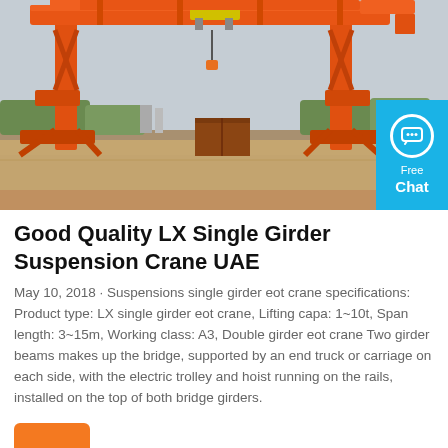[Figure (photo): Large red gantry crane over a waterway/dock area, industrial setting with greenery and buildings in background. A cyan 'Free Chat' widget appears in the bottom-right corner of the image.]
Good Quality LX Single Girder Suspension Crane UAE
May 10, 2018 · Suspensions single girder eot crane specifications: Product type: LX single girder eot crane, Lifting capa: 1~10t, Span length: 3~15m, Working class: A3, Double girder eot crane Two girder beams makes up the bridge, supported by an end truck or carriage on each side, with the electric trolley and hoist running on the rails, installed on the top of both bridge girders.